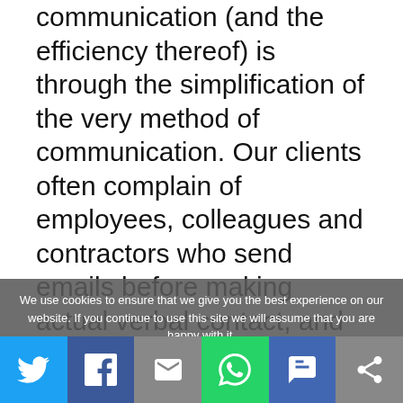communication (and the efficiency thereof) is through the simplification of the very method of communication. Our clients often complain of employees, colleagues and contractors who send emails before making actual verbal contact, and worse, those who send email after email without any physical or verbal follow up. Next time, before you send that crucial email, perhaps think of making contact with the recipient, in person if possible, or, at the very least, over the phone. Even if it is just to say “Hi, I’m sending you through an email right now, I would really appreciate your thoughts” actual contact with those involved humanises them, and you’ it is harder to ignore something if there is an identity behi
We use cookies to ensure that we give you the best experience on our website. If you continue to use this site we will assume that you are happy with it.